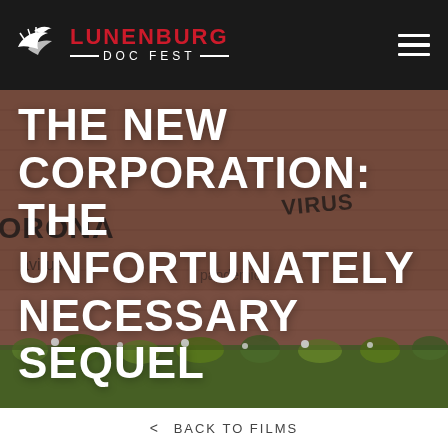LUNENBURG DOC FEST
[Figure (screenshot): Hero image showing a brick wall with graffiti text including 'CORONA' and 'VIRUS', with vegetation at the bottom. Large white bold text overlaid reads: THE NEW CORPORATION: THE UNFORTUNATELY NECESSARY SEQUEL]
THE NEW CORPORATION: THE UNFORTUNATELY NECESSARY SEQUEL
< BACK TO FILMS